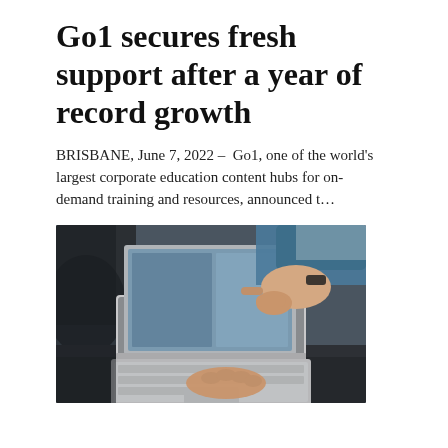Go1 secures fresh support after a year of record growth
BRISBANE, June 7, 2022 – Go1, one of the world's largest corporate education content hubs for on-demand training and resources, announced t…
[Figure (photo): Two people's hands near an open laptop — one person pointing at the screen and another typing on the keyboard]